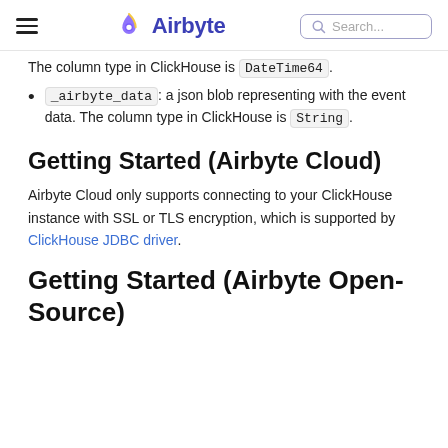Airbyte
The column type in ClickHouse is DateTime64.
_airbyte_data: a json blob representing with the event data. The column type in ClickHouse is String.
Getting Started (Airbyte Cloud)
Airbyte Cloud only supports connecting to your ClickHouse instance with SSL or TLS encryption, which is supported by ClickHouse JDBC driver.
Getting Started (Airbyte Open-Source)